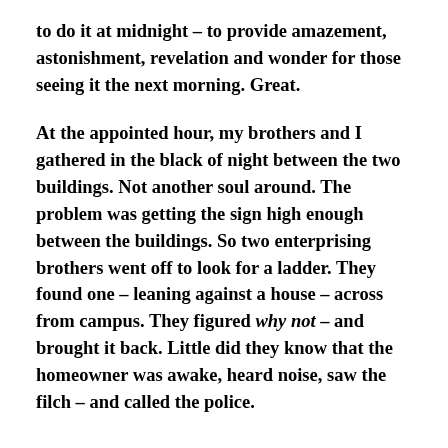to do it at midnight – to provide amazement, astonishment, revelation and wonder for those seeing it the next morning. Great.
At the appointed hour, my brothers and I gathered in the black of night between the two buildings. Not another soul around. The problem was getting the sign high enough between the buildings. So two enterprising brothers went off to look for a ladder. They found one – leaning against a house – across from campus. They figured why not – and brought it back. Little did they know that the homeowner was awake, heard noise, saw the filch – and called the police.